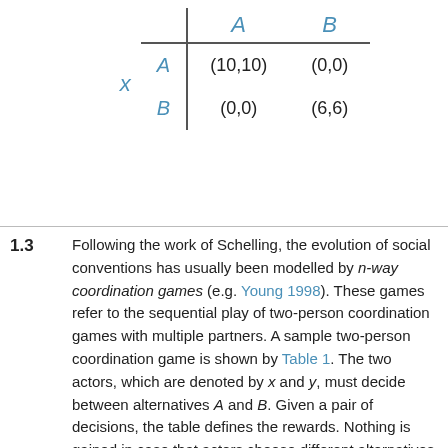|  |  | A | B |
| --- | --- | --- | --- |
| x | A | (10,10) | (0,0) |
|  | B | (0,0) | (6,6) |
1.3  Following the work of Schelling, the evolution of social conventions has usually been modelled by n-way coordination games (e.g. Young 1998). These games refer to the sequential play of two-person coordination games with multiple partners. A sample two-person coordination game is shown by Table 1. The two actors, which are denoted by x and y, must decide between alternatives A and B. Given a pair of decisions, the table defines the rewards. Nothing is gained in case that actors choose different alternatives. If both actors